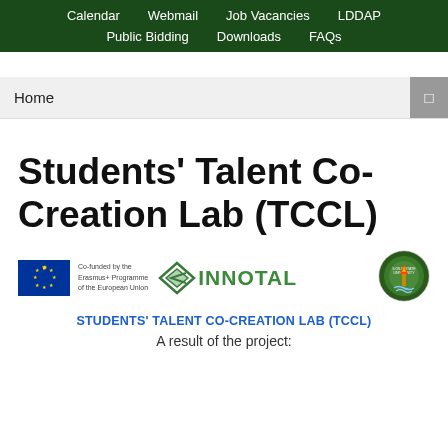Calendar  Webmail  Job Vacancies  LDDAP  Public Bidding  Downloads  FAQs
Home
Students' Talent Co-Creation Lab (TCCL)
[Figure (logo): EU Erasmus+ co-funded logo, INNOTAL logo with diamond arrow graphic, and Iloilo State University seal]
STUDENTS' TALENT CO-CREATION LAB (TCCL)
A result of the project: